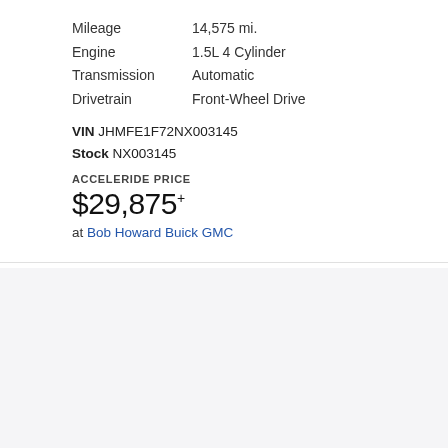Mileage: 14,575 mi.
Engine: 1.5L 4 Cylinder
Transmission: Automatic
Drivetrain: Front-Wheel Drive
VIN JHMFE1F72NX003145
Stock NX003145
ACCELERIDE PRICE
$29,875*
at Bob Howard Buick GMC
2021 Honda
Civic Sedan EX-L
[Figure (photo): Photo of a 2021 Honda Civic Sedan EX-L, dark blue/grey color, partial view with front and roofline visible]